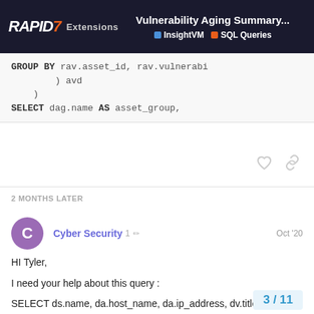RAPID7 Extensions | Vulnerability Aging Summary... | InsightVM | SQL Queries
GROUP BY rav.asset_id, rav.vulnerabi
    ) avd
  )
SELECT dag.name AS asset_group,
2 MONTHS LATER
Cyber Security  1  Oct '20
HI Tyler,

I need your help about this query :

SELECT ds.name, da.host_name, da.ip_address, dv.title, dv.severity,
cast(to_char((da.last_assessed_for_vulne
3 / 11